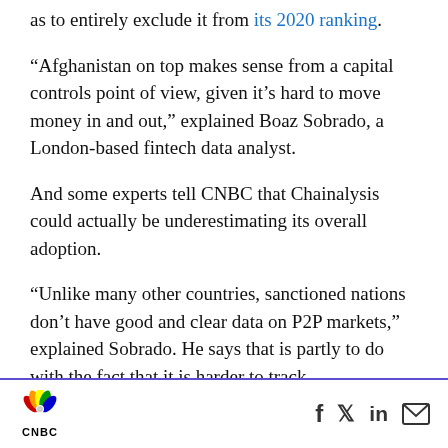as to entirely exclude it from its 2020 ranking.
“Afghanistan on top makes sense from a capital controls point of view, given it’s hard to move money in and out,” explained Boaz Sobrado, a London-based fintech data analyst.
And some experts tell CNBC that Chainalysis could actually be underestimating its overall adoption.
“Unlike many other countries, sanctioned nations don’t have good and clear data on P2P markets,” explained Sobrado. He says that is partly to do with the fact that it is harder to track
CNBC [social icons: Facebook, Twitter, LinkedIn, Email]